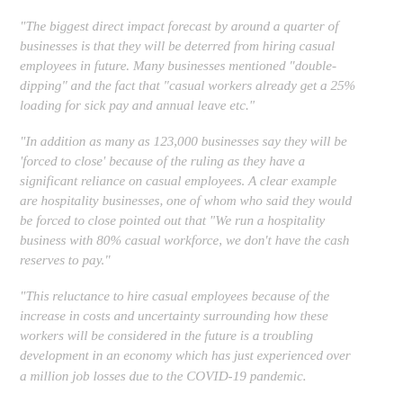“The biggest direct impact forecast by around a quarter of businesses is that they will be deterred from hiring casual employees in future. Many businesses mentioned “double-dipping” and the fact that “casual workers already get a 25% loading for sick pay and annual leave etc.”
“In addition as many as 123,000 businesses say they will be ‘forced to close’ because of the ruling as they have a significant reliance on casual employees. A clear example are hospitality businesses, one of whom who said they would be forced to close pointed out that “We run a hospitality business with 80% casual workforce, we don’t have the cash reserves to pay.”
“This reluctance to hire casual employees because of the increase in costs and uncertainty surrounding how these workers will be considered in the future is a troubling development in an economy which has just experienced over a million job losses due to the COVID-19 pandemic.
“Prime Minister Scott Morrison has already flagged...